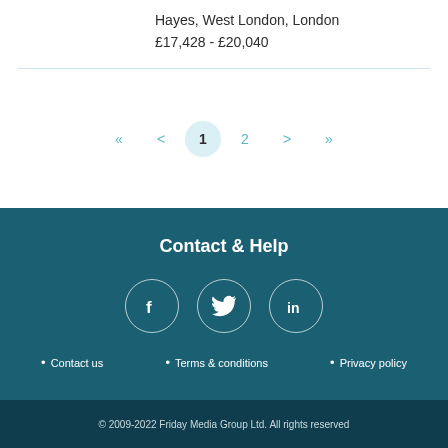Hayes, West London, London
£17,428 - £20,040
« < 1 2 > »
Contact & Help
[Figure (illustration): Social media icons: Facebook (f), Twitter (bird), LinkedIn (in) — each in a circular border]
Contact us
Terms & conditions
Privacy policy
© 2009-2022 Friday Media Group Ltd. All rights reserved